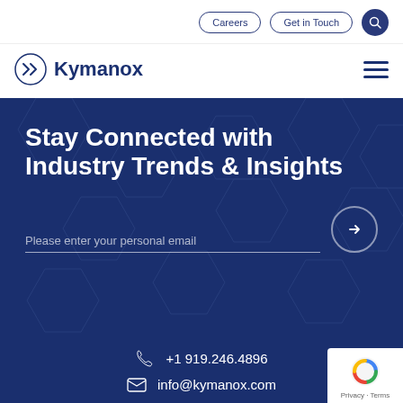Careers  Get in Touch
[Figure (logo): Kymanox logo with circular icon and wordmark in navy blue]
Stay Connected with Industry Trends & Insights
Please enter your personal email
+1 919.246.4896
info@kymanox.com